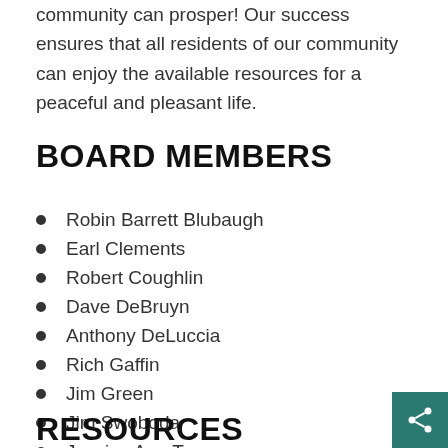community can prosper! Our success ensures that all residents of our community can enjoy the available resources for a peaceful and pleasant life.
BOARD MEMBERS
Robin Barrett Blubaugh
Earl Clements
Robert Coughlin
Dave DeBruyn
Anthony DeLuccia
Rich Gaffin
Jim Green
Jim Swoboda
Jessica Ann Tyson
RESOURCES